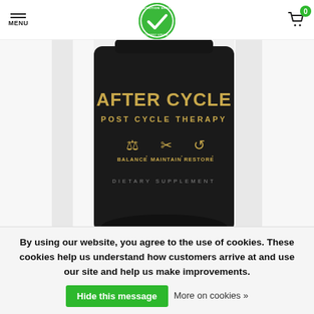MENU | [search icon] | Nutrition Shack logo | [cart icon] 0
[Figure (photo): Product photo of 'AFTER CYCLE - POST CYCLE THERAPY' dietary supplement bottle, dark label with gold text, icons for BALANCE, MAINTAIN, RESTORE]
• •
AFTER CYCLE
$49.99 Excl. tax   ✓ In stock
By using our website, you agree to the use of cookies. These cookies help us understand how customers arrive at and use our site and help us make improvements.
Hide this message   More on cookies »